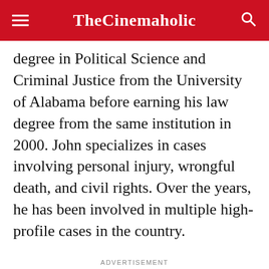TheCinemaholic
degree in Political Science and Criminal Justice from the University of Alabama before earning his law degree from the same institution in 2000. John specializes in cases involving personal injury, wrongful death, and civil rights. Over the years, he has been involved in multiple high-profile cases in the country.
ADVERTISEMENT